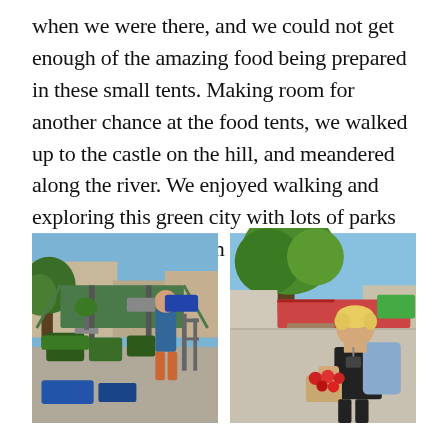when we were there, and we could not get enough of the amazing food being prepared in these small tents. Making room for another chance at the food tents, we walked up to the castle on the hill, and meandered along the river. We enjoyed walking and exploring this green city with lots of parks and green spaces from end to end.
[Figure (photo): Outdoor market scene with green tent canopy, a person in blue shirt standing among plant stalls with lush green plants displayed.]
[Figure (photo): Young blonde boy with backpack holding a basket of tomatoes, standing in an open market square with trees and market stalls in background.]